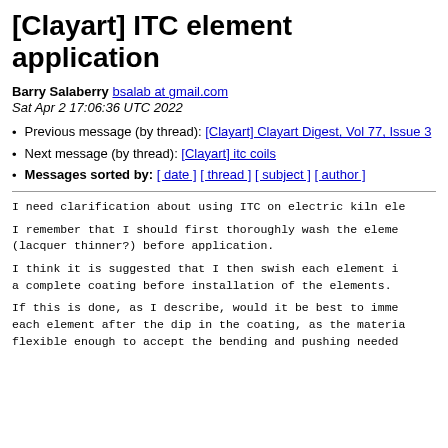[Clayart] ITC element application
Barry Salaberry bsalab at gmail.com
Sat Apr 2 17:06:36 UTC 2022
Previous message (by thread): [Clayart] Clayart Digest, Vol 77, Issue 3
Next message (by thread): [Clayart] itc coils
Messages sorted by: [ date ] [ thread ] [ subject ] [ author ]
I need clarification about using ITC on electric kiln ele
I remember that I should first thoroughly wash the eleme
(lacquer thinner?) before application.
I think it is suggested that I then swish each element i
a complete coating before installation of the elements.
If this is done, as I describe, would it be best to imme
each element after the dip in the coating, as the materia
flexible enough to accept the bending and pushing needed